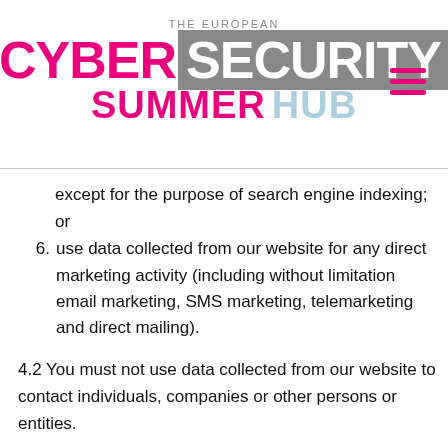THE EUROPEAN CYBER SECURITY SUMMER HUB
except for the purpose of search engine indexing; or
6. use data collected from our website for any direct marketing activity (including without limitation email marketing, SMS marketing, telemarketing and direct mailing).
4.2 You must not use data collected from our website to contact individuals, companies or other persons or entities.